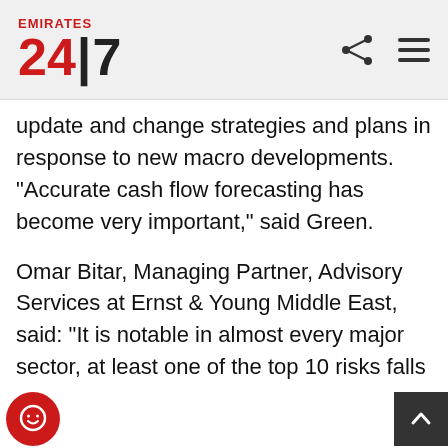Emirates 24|7
update and change strategies and plans in response to new macro developments. "Accurate cash flow forecasting has become very important," said Green.
Omar Bitar, Managing Partner, Advisory Services at Ernst & Young Middle East, said: "It is notable in almost every major sector, at least one of the top 10 risks falls in each of the four risks quadrants of financial, compliance, strategic and operations risks. This emphasises the importance of taking a broad approach to risk management, as these risks could emerge from any part of the enterprise and its activities."